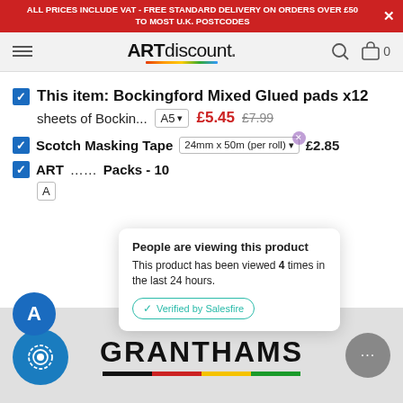ALL PRICES INCLUDE VAT - FREE STANDARD DELIVERY ON ORDERS OVER £50 TO MOST U.K. POSTCODES
[Figure (logo): ARTdiscount logo with colourful underline]
This item: Bockingford Mixed Glued pads x12 sheets of Bockin... A5 £5.45 £7.99
Scotch Masking Tape  24mm x 50m (per roll)  £2.85
People are viewing this product
This product has been viewed 4 times in the last 24 hours.
Verified by Salesfire
ART ... Packs - 10
[Figure (logo): GRANTHAMS logo with coloured bar beneath]